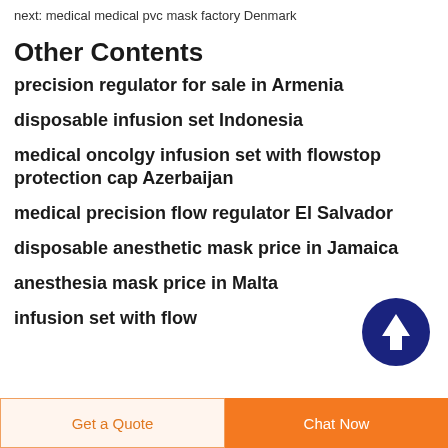next: medical medical pvc mask factory Denmark
Other Contents
precision regulator for sale in Armenia
disposable infusion set Indonesia
medical oncolgy infusion set with flowstop protection cap Azerbaijan
medical precision flow regulator El Salvador
disposable anesthetic mask price in Jamaica
anesthesia mask price in Malta
infusion set with flow
[Figure (other): Scroll-to-top button: dark navy blue circle with white upward arrow]
Get a Quote
Chat Now